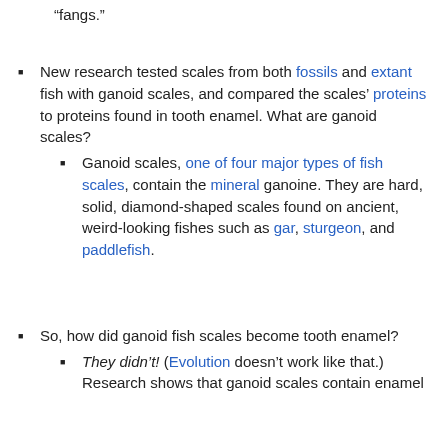“fangs.”
New research tested scales from both fossils and extant fish with ganoid scales, and compared the scales’ proteins to proteins found in tooth enamel. What are ganoid scales?
Ganoid scales, one of four major types of fish scales, contain the mineral ganoine. They are hard, solid, diamond-shaped scales found on ancient, weird-looking fishes such as gar, sturgeon, and paddlefish.
So, how did ganoid fish scales become tooth enamel?
They didn’t! (Evolution doesn’t work like that.) Research shows that ganoid scales contain enamel